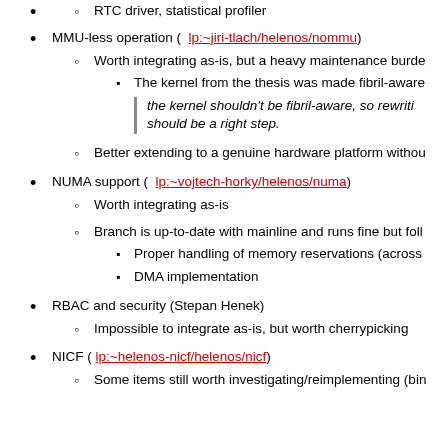RTC driver, statistical profiler
MMU-less operation ( lp:~jiri-tlach/helenos/nommu )
Worth integrating as-is, but a heavy maintenance burde...
The kernel from the thesis was made fibril-aware...
the kernel shouldn't be fibril-aware, so rewriti... should be a right step.
Better extending to a genuine hardware platform withou...
NUMA support ( lp:~vojtech-horky/helenos/numa )
Worth integrating as-is
Branch is up-to-date with mainline and runs fine but foll...
Proper handling of memory reservations (across...
DMA implementation
RBAC and security (Stepan Henek)
Impossible to integrate as-is, but worth cherrypicking
NICF ( lp:~helenos-nicf/helenos/nicf )
Some items still worth investigating/reimplementing (bin...